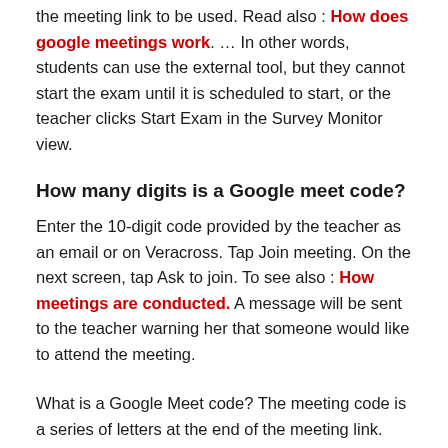the meeting link to be used. Read also : How does google meetings work. … In other words, students can use the external tool, but they cannot start the exam until it is scheduled to start, or the teacher clicks Start Exam in the Survey Monitor view.
How many digits is a Google meet code?
Enter the 10-digit code provided by the teacher as an email or on Veracross. Tap Join meeting. On the next screen, tap Ask to join. To see also : How meetings are conducted. A message will be sent to the teacher warning her that someone would like to attend the meeting.
What is a Google Meet code? The meeting code is a series of letters at the end of the meeting link. You do not need to enter hyphens. You can only use meeting nicknames with people in your organization. … If your organization has purchased and installed a Meet hardware device, you can also enter the meeting code using a keyboard at that device.